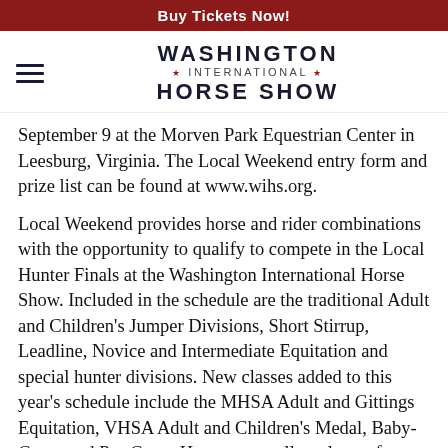Buy Tickets Now!
[Figure (logo): Washington International Horse Show logo with hamburger menu icon on left]
September 9 at the Morven Park Equestrian Center in Leesburg, Virginia. The Local Weekend entry form and prize list can be found at www.wihs.org.
Local Weekend provides horse and rider combinations with the opportunity to qualify to compete in the Local Hunter Finals at the Washington International Horse Show. Included in the schedule are the traditional Adult and Children’s Jumper Divisions, Short Stirrup, Leadline, Novice and Intermediate Equitation and special hunter divisions. New classes added to this year’s schedule include the MHSA Adult and Gittings Equitation, VHSA Adult and Children’s Medal, Baby-Green and Pre-Green Hunters as well as classes for Level 3 and Level 4 jumpers.